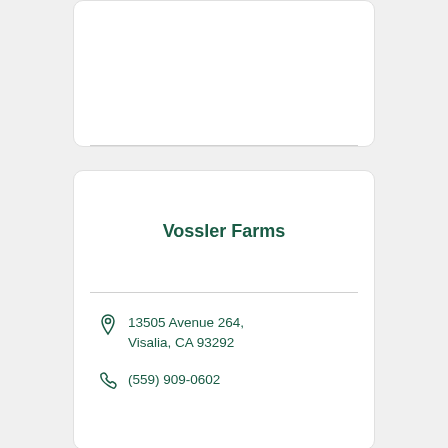Vossler Farms
13505 Avenue 264, Visalia, CA 93292
(559) 909-0602